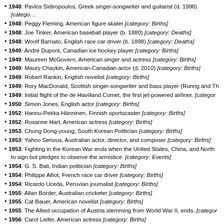1948: Pavlos Sidiropoulos, Greek singer-songwriter and guitarist (d. 1990) [category: Births]
1948: Peggy Fleming, American figure skater [category: Births]
1948: Joe Tinker, American baseball player (b. 1880) [category: Deaths]
1948: Woolf Barnato, English race car driver (b. 1898) [category: Deaths]
1949: André Dupont, Canadian ice hockey player [category: Births]
1949: Maureen McGovern, American singer and actress [category: Births]
1949: Maury Chaykin, American-Canadian actor (d. 2010) [category: Births]
1949: Robert Rankin, English novelist [category: Births]
1949: Rory MacDonald, Scottish singer-songwriter and bass player (Runrig and Th…)
1949: Initial flight of the de Havilland Comet, the first jet-powered airliner. [categor…]
1950: Simon Jones, English actor [category: Births]
1952: Hannu-Pekka Hänninen, Finnish sportscaster [category: Births]
1952: Roxanne Hart, American actress [category: Births]
1953: Chung Dong-young, South Korean Politician [category: Births]
1953: Yahoo Serious, Australian actor, director, and composer [category: Births]
1953: Fighting in the Korean War ends when the United States, China, and North … to sign but pledges to observe the armistice. [category: Events]
1954: G. S. Bali, Indian politician [category: Births]
1954: Philippe Alliot, French race car driver [category: Births]
1954: Ricardo Uceda, Peruvian journalist [category: Births]
1955: Allan Border, Australian cricketer [category: Births]
1955: Cat Bauer, American novelist [category: Births]
1955: The Allied occupation of Austria stemming from World War II, ends. [categor…]
1956: Carol Leifer, American actress [category: Births]
1957: Allan Simmons, English Scrabble player [category: Births]
1957: Bill Engvall, American comedian and actor [category: Births]
1957: Matt Osborne, American wrestler [category: Births]
1958: Christopher Dean, English figure skater [category: Births]
1958: Claire Lee Chennault, American military leader (b. 1893) [category: Deaths]
1959: Hugh Green, American football player [category: Births]
1959: Joe DeSa, American baseball player (d. 1986) [category: Births]
1959: Yiannos Papantoniou, Greek politician [category: Births]